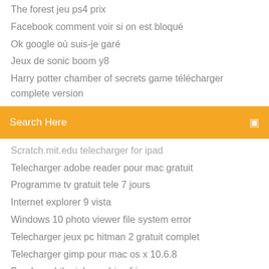The forest jeu ps4 prix
Facebook comment voir si on est bloqué
Ok google où suis-je garé
Jeux de sonic boom y8
Harry potter chamber of secrets game télécharger complete version
[Figure (other): Orange search bar with text 'Search Here' and a small icon on the right]
Scratch.mit.edu telecharger for ipad
Telecharger adobe reader pour mac gratuit
Programme tv gratuit tele 7 jours
Internet explorer 9 vista
Windows 10 photo viewer file system error
Telecharger jeux pc hitman 2 gratuit complet
Telecharger gimp pour mac os x 10.6.8
Bendy and the ink machine friv
Telecharger microsoft office word 2020 gratuit version complete
Atk hotkey asus windows 7 64 bit